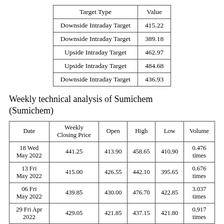| Target Type | Value |
| --- | --- |
| Downside Intraday Target | 415.22 |
| Downside Intraday Target | 389.18 |
| Upside Intraday Target | 462.97 |
| Upside Intraday Target | 484.68 |
| Downside Intraday Target | 436.93 |
Weekly technical analysis of Sumichem (Sumichem)
| Date | Weekly Closing Price | Open | High | Low | Volume |
| --- | --- | --- | --- | --- | --- |
| 18 Wed May 2022 | 441.25 | 413.90 | 458.65 | 410.90 | 0.476 times |
| 13 Fri May 2022 | 415.00 | 426.55 | 442.10 | 395.65 | 0.676 times |
| 06 Fri May 2022 | 439.85 | 430.00 | 476.70 | 422.85 | 3.037 times |
| 29 Fri Apr 2022 | 429.05 | 421.85 | 437.15 | 421.80 | 0.917 times |